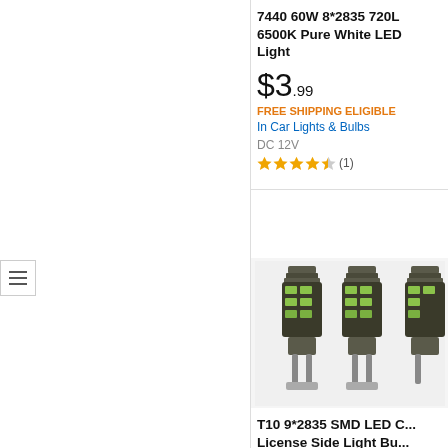[Figure (screenshot): Left panel showing white space with a hamburger menu icon on the left side]
7440 60W 8*2835 720L 6500K Pure White LED Light
$3.99
FREE SHIPPING ELIGIBLE
In Car Lights & Bulbs
DC 12V
★★★★½ (1)
[Figure (photo): Three T10 LED bulb units shown side by side with green SMD chips visible]
T10 9*2835 SMD LED License Side Light Bu...
$5.03  4-PACK
FREE SHIPPING ELIGIBLE